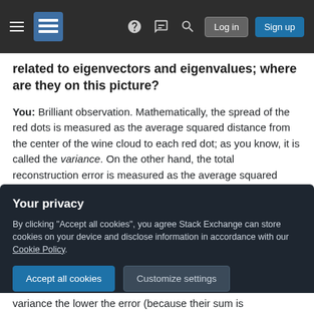Stack Exchange navigation bar with hamburger menu, logo, help, chat, search icons, Log in and Sign up buttons
related to eigenvectors and eigenvalues; where are they on this picture?
You: Brilliant observation. Mathematically, the spread of the red dots is measured as the average squared distance from the center of the wine cloud to each red dot; as you know, it is called the variance. On the other hand, the total reconstruction error is measured as the average squared length of the corresponding red lines. But as the angle between red lines and the black line is
[Figure (screenshot): Privacy consent overlay with dark background. Title: 'Your privacy'. Text: 'By clicking "Accept all cookies", you agree Stack Exchange can store cookies on your device and disclose information in accordance with our Cookie Policy.' Two buttons: 'Accept all cookies' (blue) and 'Customize settings' (gray).]
variance the lower the error (because their sum is